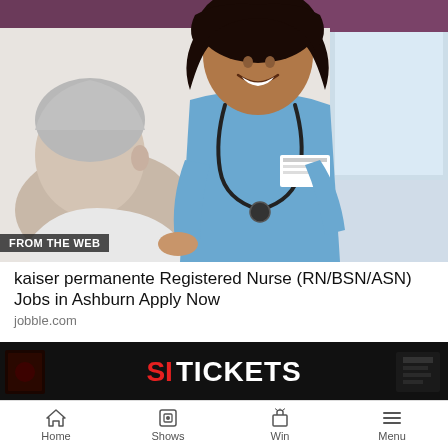[Figure (photo): A smiling nurse in blue scrubs with a stethoscope attending to an elderly patient, indoor healthcare setting with window in background]
FROM THE WEB
kaiser permanente Registered Nurse (RN/BSN/ASN) Jobs in Ashburn Apply Now
jobble.com
[Figure (screenshot): SI TICKETS banner advertisement on dark background]
LIVE  Listen on iHeartRadio
BURNA BOY - LAST LAST
Home  Shows  Win  Menu